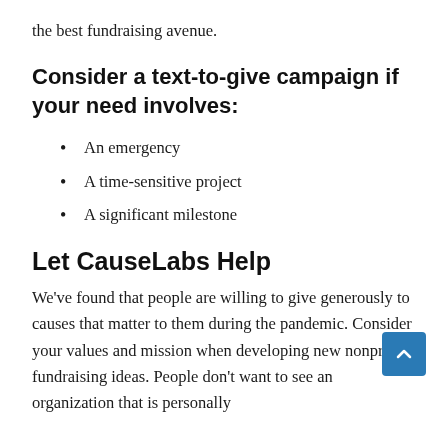the best fundraising avenue.
Consider a text-to-give campaign if your need involves:
An emergency
A time-sensitive project
A significant milestone
Let CauseLabs Help
We've found that people are willing to give generously to causes that matter to them during the pandemic. Consider your values and mission when developing new nonprofit fundraising ideas. People don't want to see an organization that is personally